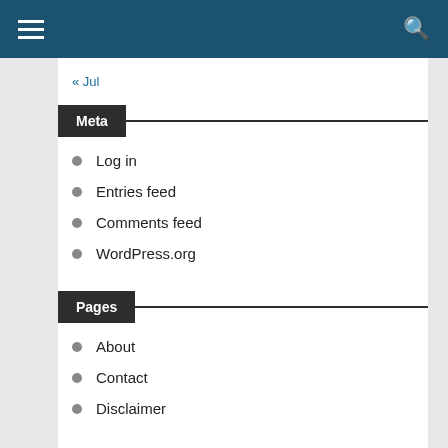« Jul
Meta
Log in
Entries feed
Comments feed
WordPress.org
Pages
About
Contact
Disclaimer